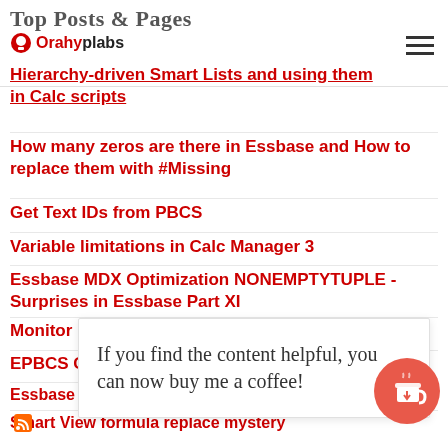Top Posts & Pages
Hierarchy-driven Smart Lists and using them in Calc scripts
How many zeros are there in Essbase and How to replace them with #Missing
Get Text IDs from PBCS
Variable limitations in Calc Manager 3
Essbase MDX Optimization NONEMPTYTUPLE - Surprises in Essbase Part XI
Monitor last login time in Planning/Essbase
EPBCS Groovy and use of Templates
Essbase Import Text List - Encryption
Smart View formula replace mystery
If you find the content helpful, you can now buy me a coffee!